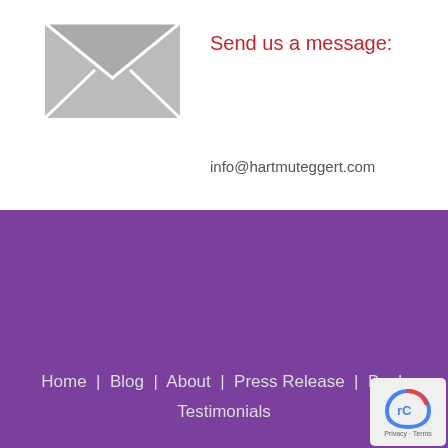[Figure (illustration): Gray envelope/mail icon]
Send us a message:
info@hartmuteggert.com
Copyright © 2018-2022 Hartmut Eggert. All Rights Reserved.
[Figure (illustration): Social media icons: Facebook, Twitter, Tumblr, Instagram, LinkedIn]
Home
Blog
About
Press Release
Book
Testimonials
[Figure (logo): reCAPTCHA badge with Privacy and Terms text]